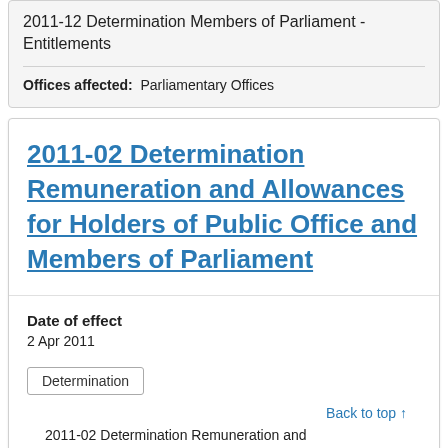2011-12 Determination Members of Parliament - Entitlements
Offices affected: Parliamentary Offices
2011-02 Determination Remuneration and Allowances for Holders of Public Office and Members of Parliament
Date of effect
2 Apr 2011
Determination
Back to top ↑
2011-02 Determination Remuneration and